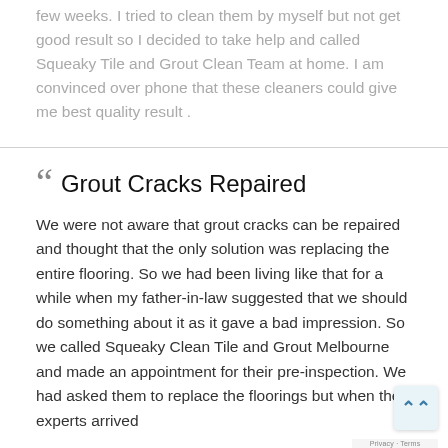few weeks. I tried to clean them by myself but not get good result so I decided to take help and called Squeaky Tile and Grout Clean Team at home. I am convinced over phone that these cleaners could give me best quality result .
Grout Cracks Repaired
We were not aware that grout cracks can be repaired and thought that the only solution was replacing the entire flooring. So we had been living like that for a while when my father-in-law suggested that we should do something about it as it gave a bad impression. So we called Squeaky Clean Tile and Grout Melbourne and made an appointment for their pre-inspection. We had asked them to replace the floorings but when the experts arrived